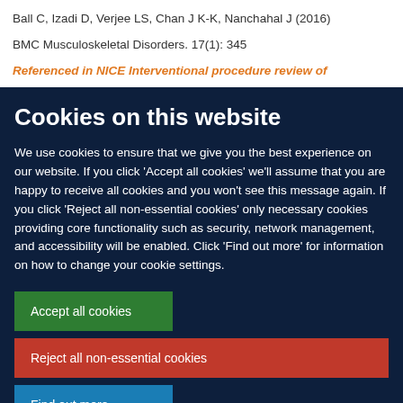Ball C, Izadi D, Verjee LS, Chan J K-K, Nanchahal J (2016)
BMC Musculoskeletal Disorders. 17(1): 345
Referenced in NICE Interventional procedure review of
Cookies on this website
We use cookies to ensure that we give you the best experience on our website. If you click 'Accept all cookies' we'll assume that you are happy to receive all cookies and you won't see this message again. If you click 'Reject all non-essential cookies' only necessary cookies providing core functionality such as security, network management, and accessibility will be enabled. Click 'Find out more' for information on how to change your cookie settings.
Accept all cookies
Reject all non-essential cookies
Find out more